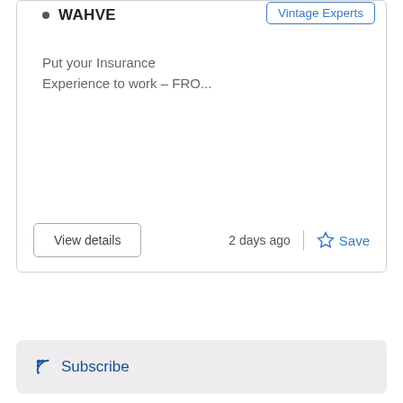WAHVE
[Figure (other): Vintage Experts badge/logo button in blue outlined rectangle]
Put your Insurance Experience to work – FRO...
View details
2 days ago
Save
Subscribe